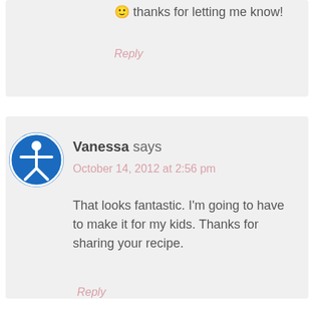🙂 thanks for letting me know!
Reply
Vanessa says
October 14, 2012 at 2:56 pm
That looks fantastic. I'm going to have to make it for my kids. Thanks for sharing your recipe.
Reply